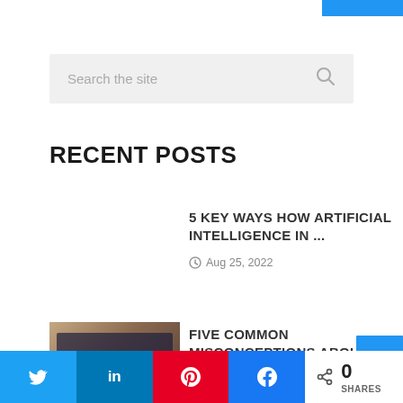[Figure (other): Blue navigation bar fragment at top right]
Search the site
RECENT POSTS
5 KEY WAYS HOW ARTIFICIAL INTELLIGENCE IN ...
Aug 25, 2022
[Figure (photo): Laptop/computer screen photo thumbnail for FX Trading article]
FIVE COMMON MISCONCEPTIONS ABOUT FX TRADING IN ...
Twitter  in LinkedIn  Pinterest  Facebook  0 SHARES